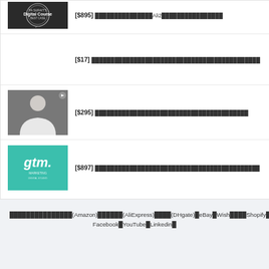[Figure (screenshot): Digital Course logo thumbnail (dark background, circular badge design)]
[$895] ████████████████Ali2████████████████
[$17] ████████████████████████████████████████████
[Figure (screenshot): Man in white shirt holding item, gray background thumbnail with play indicator]
[$295] ████████████████████████████████████████
[Figure (logo): GTM teal logo thumbnail]
[$897] ████████████████████████████████████████████
████████████████(Amazon)██████(AliExpress)████(DHgate)█eBay█Wish████Shopify█Lazada█Shopee██████████████████████████████████████Dropshipping███████ Facebook█YouTube█Linkedin█